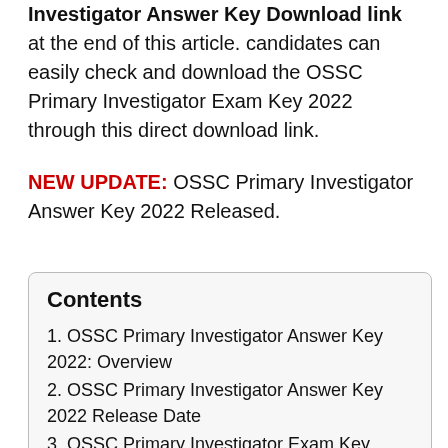Investigator Answer Key Download link at the end of this article. candidates can easily check and download the OSSC Primary Investigator Exam Key 2022 through this direct download link.
NEW UPDATE: OSSC Primary Investigator Answer Key 2022 Released.
Contents
1. OSSC Primary Investigator Answer Key 2022: Overview
2. OSSC Primary Investigator Answer Key 2022 Release Date
3. OSSC Primary Investigator Exam Key 2022 – Objections